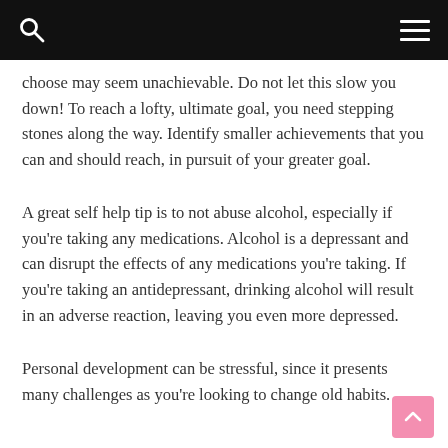choose may seem unachievable. Do not let this slow you down! To reach a lofty, ultimate goal, you need stepping stones along the way. Identify smaller achievements that you can and should reach, in pursuit of your greater goal.
A great self help tip is to not abuse alcohol, especially if you're taking any medications. Alcohol is a depressant and can disrupt the effects of any medications you're taking. If you're taking an antidepressant, drinking alcohol will result in an adverse reaction, leaving you even more depressed.
Personal development can be stressful, since it presents many challenges as you're looking to change old habits.